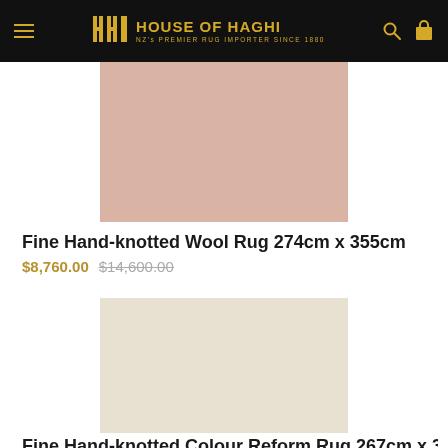House of Haghi — NZ's Premier Rug Importer Since 1880
[Figure (photo): Product image of a fine hand-knotted wool rug in dusty pink/terracotta tone]
Fine Hand-knotted Wool Rug 274cm x 355cm
$8,760.00 $14,600.00
[Figure (photo): Product image of a fine hand-knotted colour reform rug in cream/beige tone]
Fine Hand-knotted Colour Reform Rug 267cm x 359cm